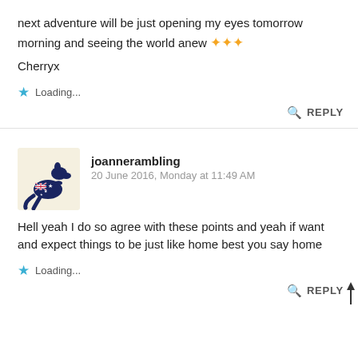next adventure will be just opening my eyes tomorrow morning and seeing the world anew ✦✦✦
Cherryx
Loading...
REPLY
joannerambling
20 June 2016, Monday at 11:49 AM
Hell yeah I do so agree with these points and yeah if want and expect things to be just like home best you say home
Loading...
REPLY